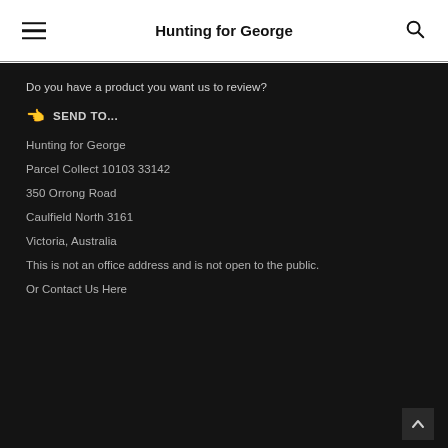Hunting for George
Do you have a product you want us to review?
👈 SEND TO...
Hunting for George
Parcel Collect 10103 33142
350 Orrong Road
Caulfield North 3161
Victoria, Australia
This is not an office address and is not open to the public.
Or Contact Us Here